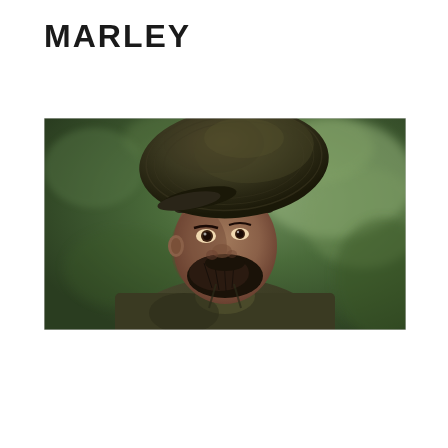MARLEY
[Figure (photo): A man with a large knit tam/rasta hat (dreadlocks inside), a beard, wearing an olive/dark green shirt, looking slightly downward and to the side. Background is blurred green foliage.]